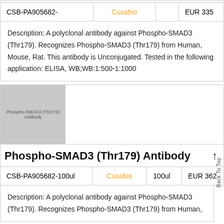| Product ID | Supplier | Size | Price |
| --- | --- | --- | --- |
| CSB-PA905682- | Cusabio |  | EUR 335 |
Description: A polyclonal antibody against Phospho-SMAD3 (Thr179). Recognizes Phospho-SMAD3 (Thr179) from Human, Mouse, Rat. This antibody is Unconjugated. Tested in the following application: ELISA, WB;WB:1:500-1:1000
[Figure (photo): Product image placeholder for Phospho-SMAD3 (Thr179) antibody with gray image area and white space.]
Phospho-SMAD3 (Thr179) Antibody
| Product ID | Supplier | Size | Price |
| --- | --- | --- | --- |
| CSB-PA905682-100ul | Cusabio | 100ul | EUR 362 |
Description: A polyclonal antibody against Phospho-SMAD3 (Thr179). Recognizes Phospho-SMAD3 (Thr179) from Human,